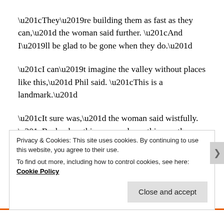“They’re building them as fast as they can,” the woman said further. “And I’ll be glad to be gone when they do.”
“I can’t imagine the valley without places like this,” Phil said. “This is a landmark.”
“It sure was,” the woman said wistfully. “Back when this was a saloon, this was the only stop between San Jose and Almaden where you could come in and wet your whistle. Now San Jose is swallowing the whole place up. Can’t wait to get out.”
Privacy & Cookies: This site uses cookies. By continuing to use this website, you agree to their use.
To find out more, including how to control cookies, see here: Cookie Policy
Close and accept